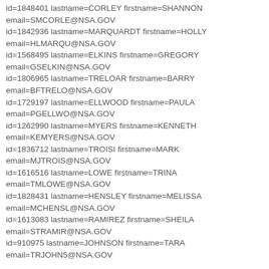id=1848401 lastname=CORLEY firstname=SHANNON email=SMCORLE@NSA.GOV
id=1842936 lastname=MARQUARDT firstname=HOLLY email=HLMARQU@NSA.GOV
id=1568495 lastname=ELKINS firstname=GREGORY email=GSELKIN@NSA.GOV
id=1806965 lastname=TRELOAR firstname=BARRY email=BFTRELO@NSA.GOV
id=1729197 lastname=ELLWOOD firstname=PAULA email=PGELLWO@NSA.GOV
id=1262990 lastname=MYERS firstname=KENNETH email=KEMYERS@NSA.GOV
id=1836712 lastname=TROISI firstname=MARK email=MJTROIS@NSA.GOV
id=1616516 lastname=LOWE firstname=TRINA email=TMLOWE@NSA.GOV
id=1828431 lastname=HENSLEY firstname=MELISSA email=MCHENSL@NSA.GOV
id=1613083 lastname=RAMIREZ firstname=SHEILA email=STRAMIR@NSA.GOV
id=910975 lastname=JOHNSON firstname=TARA email=TRJOHN5@NSA.GOV